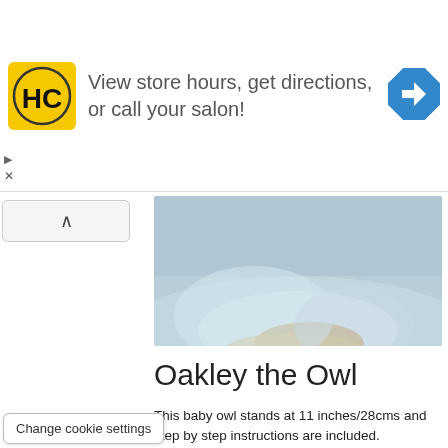[Figure (infographic): Advertisement banner with yellow HC logo, text 'View store hours, get directions, or call your salon!' and a blue navigation arrow icon]
[Figure (photo): Cropped top portion of a knitted owl stuffed animal, showing tan/brown yarn texture against light blue-grey background]
Oakley the Owl
This baby owl stands at 11 inches/28cms and step by step instructions are included.
Get the knitting pattern
[Figure (photo): Two grey fuzzy knitted owl stuffed animals with closed eyes and orange beaks, one in front of a colorful painting background]
Change cookie settings